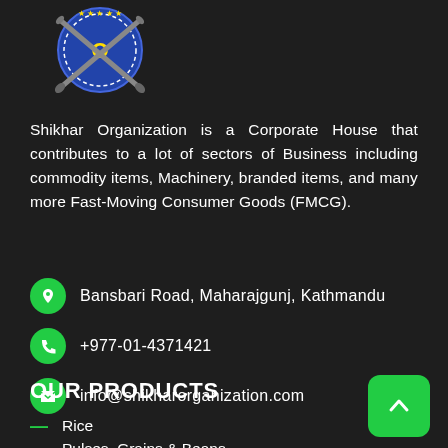[Figure (logo): Shikhar Organization logo with crossed rifles and circular badge design]
Shikhar Organization is a Corporate House that contributes to a lot of sectors of Business including commodity items, Machinery, branded items, and many more Fast-Moving Consumer Goods (FMCG).
Bansbari Road, Maharajgunj, Kathmandu
+977-01-4371421
info@shikharorganization.com
OUR PRODUCTS
Rice
Pulses, Grains & Beans